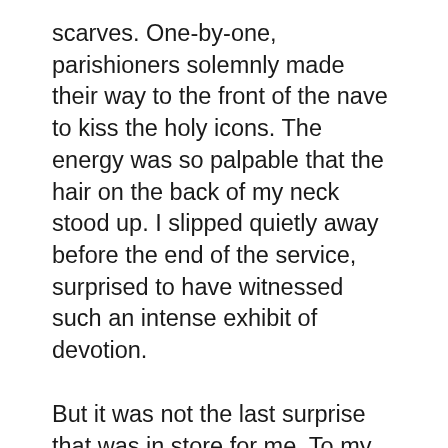scarves. One-by-one, parishioners solemnly made their way to the front of the nave to kiss the holy icons. The energy was so palpable that the hair on the back of my neck stood up. I slipped quietly away before the end of the service, surprised to have witnessed such an intense exhibit of devotion.
But it was not the last surprise that was in store for me. To my delight, I learned that Cluj-Napoca, commonly referred to by the locals as Cluj, is a university town, which explained the city's strong cafe culture. One morning I whiled away a couple of hours at a coffee shop on Unirii Square in the heart of the city; on another afternoon I discovered